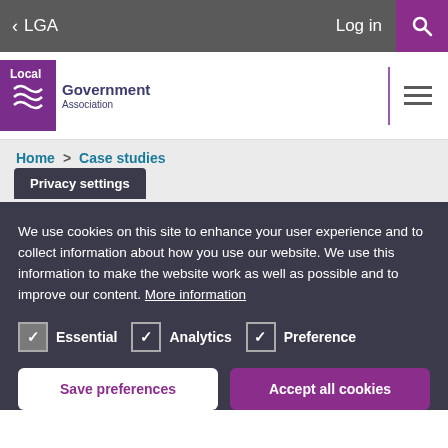< LGA  Log in [search]
[Figure (logo): Local Government Association logo with purple background and stylized graphic]
Home > Case studies
Privacy settings
We use cookies on this site to enhance your user experience and to collect information about how you use our website. We use this information to make the website work as well as possible and to improve our content. More information
✓ Essential  ✓ Analytics  ✓ Preference
Save preferences  Accept all cookies